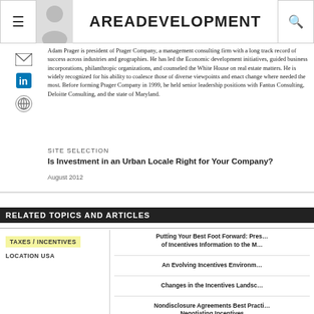AreaDevelopment
Adam Prager is president of Prager Company, a management consulting firm with a long track record of success across industries and geographies. He has led the Economic development initiatives, guided business incorporations, philanthropic organizations, and counseled the White House on real estate matters. He is widely recognized for his ability to coalesce those of diverse viewpoints and enact change where needed the most. Before forming Prager Company in 1999, he held senior leadership positions with Fantus Consulting, Deloitte Consulting, and the state of Maryland.
SITE SELECTION
Is Investment in an Urban Locale Right for Your Company?
August 2012
RELATED TOPICS AND ARTICLES
TAXES / INCENTIVES
LOCATION USA
Putting Your Best Foot Forward: Presenting Incentives Information to the M…
An Evolving Incentives Environm…
Changes in the Incentives Landsc…
Nondisclosure Agreements Best Practi… Negotiating Incentives
What's Next: Leveraging Mergers… Acquisitions with Incentives…